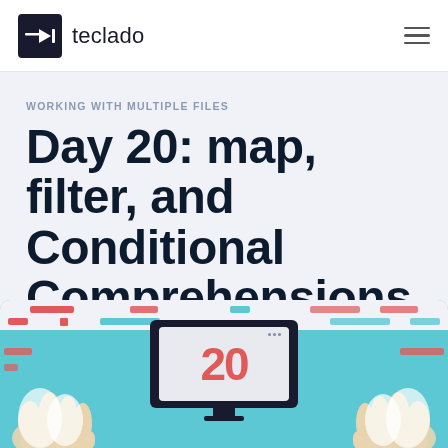teclado
WORKING WITH MULTIPLE FILES
Day 20: map, filter, and Conditional Comprehensions
[Figure (illustration): Colorful illustration showing a computer monitor displaying the number 20, surrounded by hands and decorative colored bars in red and teal, on a light blue background. Represents a coding tutorial day 20 theme.]